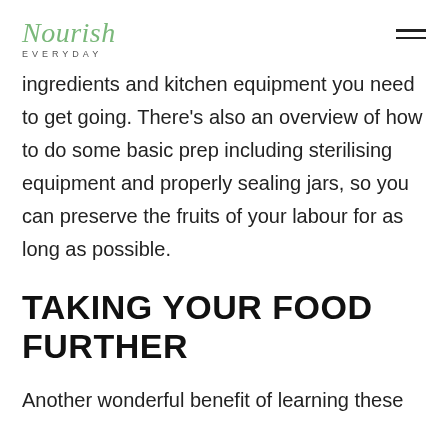Nourish EVERYDAY
ingredients and kitchen equipment you need to get going. There's also an overview of how to do some basic prep including sterilising equipment and properly sealing jars, so you can preserve the fruits of your labour for as long as possible.
TAKING YOUR FOOD FURTHER
Another wonderful benefit of learning these